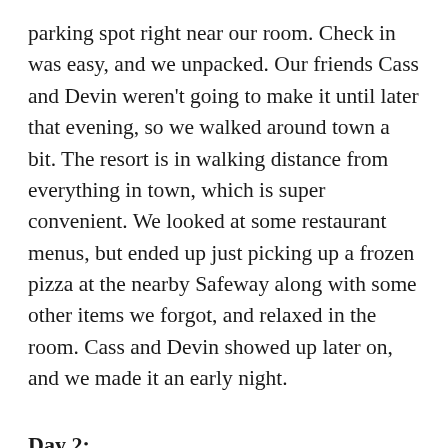parking spot right near our room. Check in was easy, and we unpacked. Our friends Cass and Devin weren't going to make it until later that evening, so we walked around town a bit. The resort is in walking distance from everything in town, which is super convenient. We looked at some restaurant menus, but ended up just picking up a frozen pizza at the nearby Safeway along with some other items we forgot, and relaxed in the room. Cass and Devin showed up later on, and we made it an early night.
Day 2:
Thursday was the Fourth of July. The weather was perfect and in the high 80's, and I was anxious to get Large Marge the Party Barge (our 10 ft diameter inflatable raft) out on the water. In the covered parking lot on the base level (around the corner from the pool) there is an air pump for guest use for